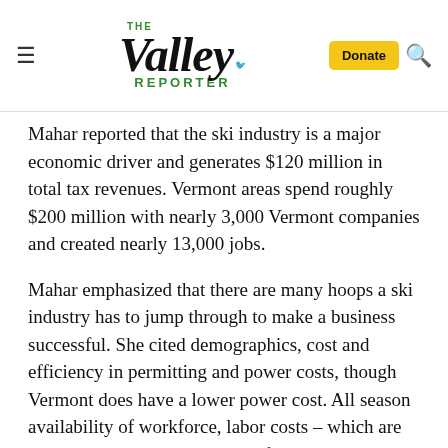The Valley Reporter
Mahar reported that the ski industry is a major economic driver and generates $120 million in total tax revenues. Vermont areas spend roughly $200 million with nearly 3,000 Vermont companies and created nearly 13,000 jobs.
Mahar emphasized that there are many hoops a ski industry has to jump through to make a business successful. She cited demographics, cost and efficiency in permitting and power costs, though Vermont does have a lower power cost. All season availability of workforce, labor costs – which are the single most expensive cost for the industry – affordable housing, and an aging management in